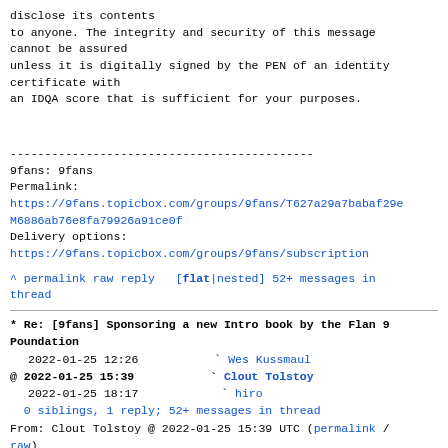disclose its contents
to anyone. The integrity and security of this message cannot be assured
unless it is digitally signed by the PEN of an identity certificate with
an IDQA score that is sufficient for your purposes.
--------------------------------------------
9fans: 9fans
Permalink:
https://9fans.topicbox.com/groups/9fans/T627a29a7babaf29e-M6886ab76e8fa79926a91ce0f
Delivery options:
https://9fans.topicbox.com/groups/9fans/subscription
^ permalink raw reply  [flat|nested] 52+ messages in thread
* Re: [9fans] Sponsoring a new Intro book by the Flan 9 Poundation
  2022-01-25 12:26                  ` Wes Kussmaul
@ 2022-01-25 15:39                  ` Clout Tolstoy
  2022-01-25 18:17                    ` hiro
  0 siblings, 1 reply; 52+ messages in thread
From: Clout Tolstoy @ 2022-01-25 15:39 UTC (permalink / raw)